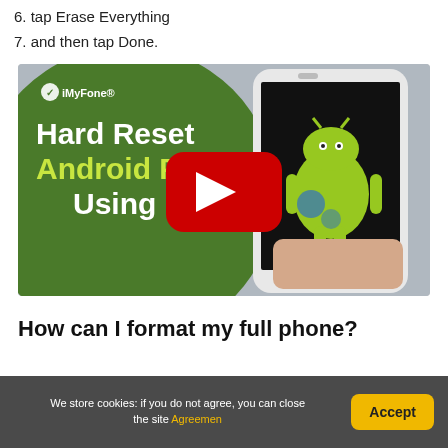6. tap Erase Everything
7. and then tap Done.
[Figure (screenshot): iMyFone promotional video thumbnail showing 'Hard Reset Android Phone Using PC' with a Samsung phone and Android robot mascot, with a YouTube play button overlay]
How can I format my full phone?
We store cookies: if you do not agree, you can close the site Agreemen